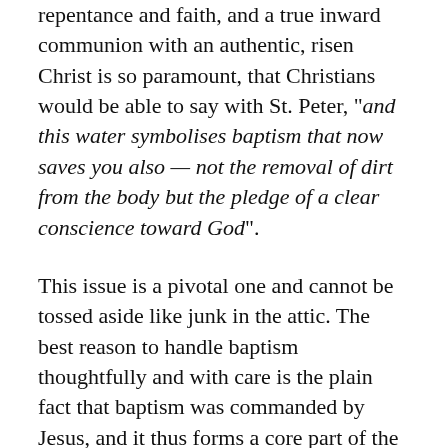repentance and faith, and a true inward communion with an authentic, risen Christ is so paramount, that Christians would be able to say with St. Peter, "and this water symbolises baptism that now saves you also — not the removal of dirt from the body but the pledge of a clear conscience toward God".
This issue is a pivotal one and cannot be tossed aside like junk in the attic. The best reason to handle baptism thoughtfully and with care is the plain fact that baptism was commanded by Jesus, and it thus forms a core part of the Church's mission – the mission that was defined by none other than Christ himself. Therefore, errors regarding baptism threaten the very integrity of the Church's divinely mandated task on earth.